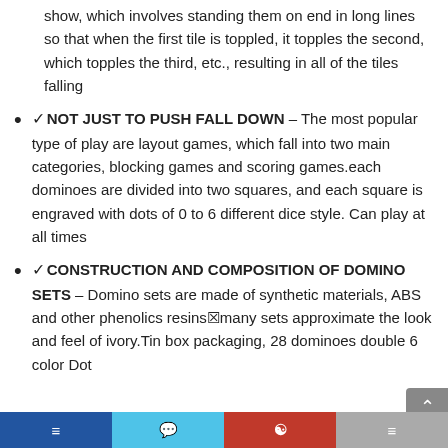show, which involves standing them on end in long lines so that when the first tile is toppled, it topples the second, which topples the third, etc., resulting in all of the tiles falling
✓NOT JUST TO PUSH FALL DOWN – The most popular type of play are layout games, which fall into two main categories, blocking games and scoring games.each dominoes are divided into two squares, and each square is engraved with dots of 0 to 6 different dice style. Can play at all times
✓CONSTRUCTION AND COMPOSITION OF DOMINO SETS – Domino sets are made of synthetic materials, ABS and other phenolics resins many sets approximate the look and feel of ivory.Tin box packaging, 28 dominoes double 6 color Dot